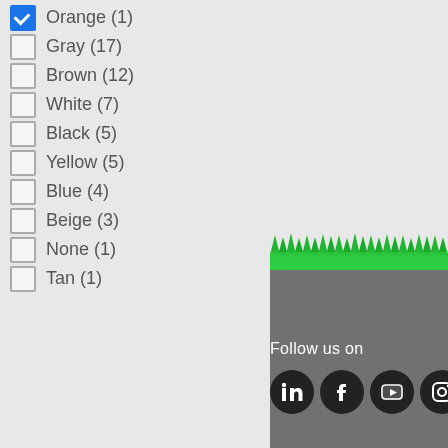Orange (1) [checked]
Gray (17)
Brown (12)
White (7)
Black (5)
Yellow (5)
Blue (4)
Beige (3)
None (1)
Tan (1)
[Figure (illustration): Green grass decorative illustration at top of footer]
Follow us on
[Figure (other): Social media icons row: LinkedIn, Facebook, YouTube, Instagram, and one more partially visible]